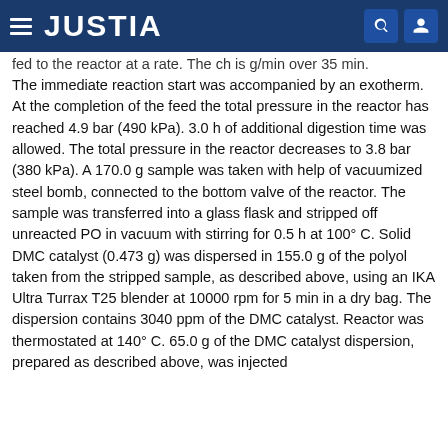JUSTIA
fed to the reactor at a rate. The ch is g/min over 35 min. The immediate reaction start was accompanied by an exotherm. At the completion of the feed the total pressure in the reactor has reached 4.9 bar (490 kPa). 3.0 h of additional digestion time was allowed. The total pressure in the reactor decreases to 3.8 bar (380 kPa). A 170.0 g sample was taken with help of vacuumized steel bomb, connected to the bottom valve of the reactor. The sample was transferred into a glass flask and stripped off unreacted PO in vacuum with stirring for 0.5 h at 100° C. Solid DMC catalyst (0.473 g) was dispersed in 155.0 g of the polyol taken from the stripped sample, as described above, using an IKA Ultra Turrax T25 blender at 10000 rpm for 5 min in a dry bag. The dispersion contains 3040 ppm of the DMC catalyst. Reactor was thermostated at 140° C. 65.0 g of the DMC catalyst dispersion, prepared as described above, was injected